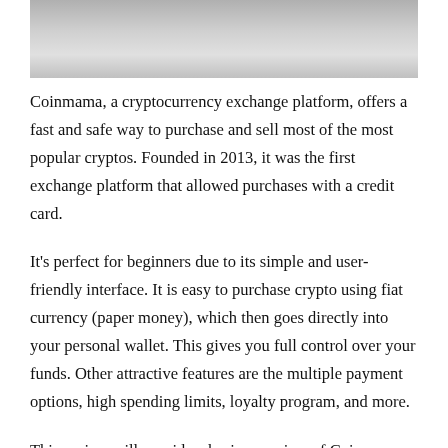[Figure (photo): Partial photo of a person in white clothing, cropped at the top of the page]
Coinmama, a cryptocurrency exchange platform, offers a fast and safe way to purchase and sell most of the most popular cryptos. Founded in 2013, it was the first exchange platform that allowed purchases with a credit card.
It’s perfect for beginners due to its simple and user-friendly interface. It is easy to purchase crypto using fiat currency (paper money), which then goes directly into your personal wallet. This gives you full control over your funds. Other attractive features are the multiple payment options, high spending limits, loyalty program, and more.
This review will provide a basic overview of Coinmama. Read on to find out if Coinmama is right for you.